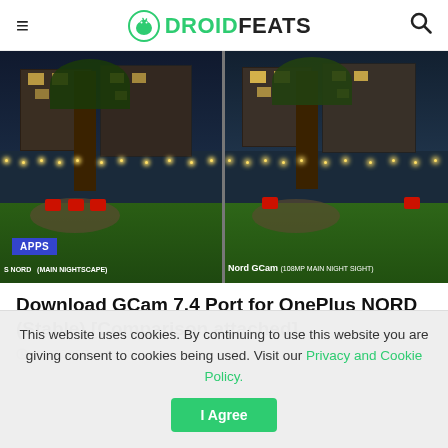DROIDFEATS
[Figure (photo): Side-by-side night photo comparison of a backyard with red chairs, string lights, and houses. Left shows 5 NORD MAIN NIGHTSCAPE, right shows Nord GCam 108MP MAIN NIGHT SIGHT. APPS badge visible on left.]
Download GCam 7.4 Port for OnePlus NORD (Stable) [Comparison attached]
OCTOBER 2, 2020
This website uses cookies. By continuing to use this website you are giving consent to cookies being used. Visit our Privacy and Cookie Policy.